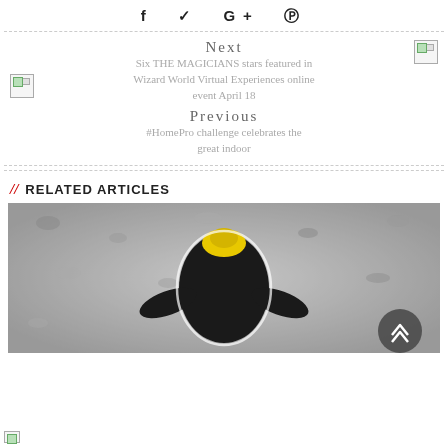f  ♥  G+  ⊕
Next
Six THE MAGICIANS stars featured in Wizard World Virtual Experiences online event April 18
Previous
#HomePro challenge celebrates the great indoor
// RELATED ARTICLES
[Figure (photo): Black and white overhead photo of a person wearing a black outfit and yellow hat, viewed from above, against a gravel/stone ground. A dark circular scroll-to-top button overlays the bottom right.]